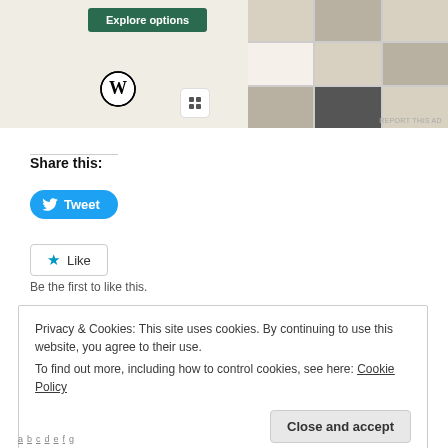[Figure (screenshot): WordPress ad banner with 'Explore options' button, WordPress logo, and food app screenshot collage on beige background. 'REPORT THIS AD' text in bottom right.]
Share this:
[Figure (illustration): Tweet button with Twitter bird icon, blue pill-shaped button labeled 'Tweet']
[Figure (illustration): Like button with blue star icon, bordered button labeled 'Like']
Be the first to like this.
Privacy & Cookies: This site uses cookies. By continuing to use this website, you agree to their use.
To find out more, including how to control cookies, see here: Cookie Policy
Close and accept